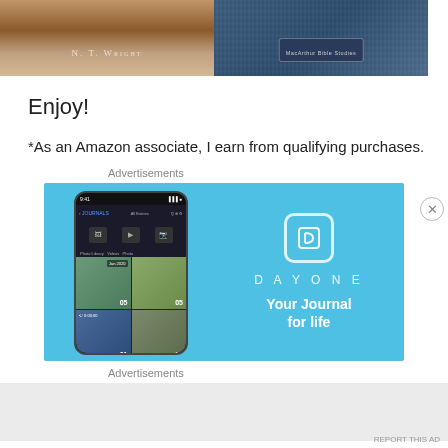[Figure (photo): Two book covers side by side. Left: a book by N. T. Wright with a wooden boat/canoe image. Right: a blue textured book cover with MacArthur Bible Studies badge.]
Enjoy!
*As an Amazon associate, I earn from qualifying purchases.
Advertisements
[Figure (screenshot): Day One app advertisement banner. Light blue background. Left side shows a phone mockup with the Day One journaling app interface showing photos. Right side shows a book/bookmark icon, 'DAY ONE' text in spaced letters, and tagline 'Your Journal for life'.]
Advertisements